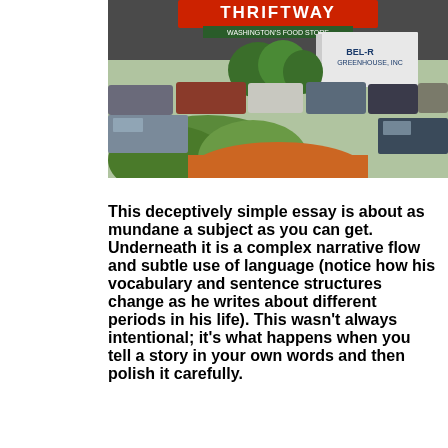[Figure (photo): Photograph of a Thriftway Washington's Food Store parking lot with cars and trees in the foreground and a BEL-R Greenhouse Inc. truck visible in the background.]
This deceptively simple essay is about as mundane a subject as you can get. Underneath it is a complex narrative flow and subtle use of language (notice how his vocabulary and sentence structures change as he writes about different periods in his life). This wasn't always intentional; it's what happens when you tell a story in your own words and then polish it carefully.